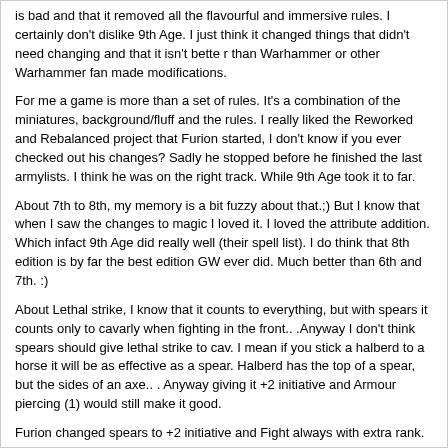is bad and that it removed all the flavourful and immersive rules. I certainly don't dislike 9th Age. I just think it changed things that didn't need changing and that it isn't bette r than Warhammer or other Warhammer fan made modifications.
For me a game is more than a set of rules. It's a combination of the miniatures, background/fluff and the rules. I really liked the Reworked and Rebalanced project that Furion started, I don't know if you ever checked out his changes? Sadly he stopped before he finished the last armylists. I think he was on the right track. While 9th Age took it to far.
About 7th to 8th, my memory is a bit fuzzy about that.;) But I know that when I saw the changes to magic I loved it. I loved the attribute addition. Which infact 9th Age did really well (their spell list). I do think that 8th edition is by far the best edition GW ever did. Much better than 6th and 7th. :)
About Lethal strike, I know that it counts to everything, but with spears it counts only to cavarly when fighting in the front.. .Anyway I don't think spears should give lethal strike to cav. I mean if you stick a halberd to a horse it will be as effective as a spear. Halberd has the top of a spear, but the sides of an axe.. . Anyway giving it +2 initiative and Armour piercing (1) would still make it good.
Furion changed spears to +2 initiative and Fight always with extra rank. For the Empire he than decreased the cost of a spearmen to 3.5 compared to 5 points for a halberdier and 4.5 for a swordsmen. We use Furions modification since autumn 2015 and yes me and the other Empire player do use spearmen.. .
Anyway I missed that executioners received a seperate weapon entry: Executioner's Blade: Great Weapon. Lethal Strike. and Multiple Wounds (2, Infantry, War Beast, Cavalry).
Anyway I assume that this was to compensate the weakening of the previous 8th Killing Blow. If 9th Age kept Killing blow the same it was in 8th edition and just added that against MC, Chariots, MI Killing Blow still does 1 wound with no armour save allowed.
So they weakened Killing blow, but Executioners gain multiple wounds (2) to compensate.... I wonder what happened to WDC Once Chosen, as they